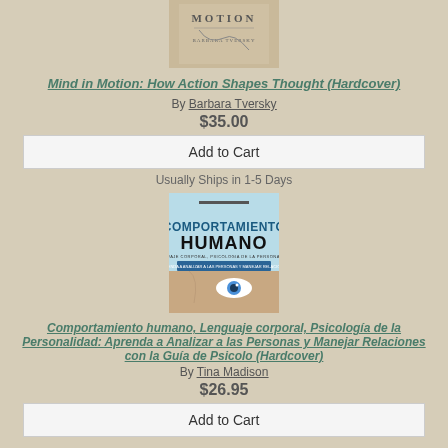[Figure (photo): Book cover for Mind in Motion: How Action Shapes Thought by Barbara Tversky - beige/tan cover with text MOTION and author name]
Mind in Motion: How Action Shapes Thought (Hardcover)
By Barbara Tversky
$35.00
Add to Cart
Usually Ships in 1-5 Days
[Figure (photo): Book cover for Comportamiento Humano - blue cover with large bold text COMPORTAMIENTO HUMANO and an eye/face image]
Comportamiento humano, Lenguaje corporal, Psicología de la Personalidad: Aprenda a Analizar a las Personas y Manejar Relaciones con la Guía de Psicolo (Hardcover)
By Tina Madison
$26.95
Add to Cart